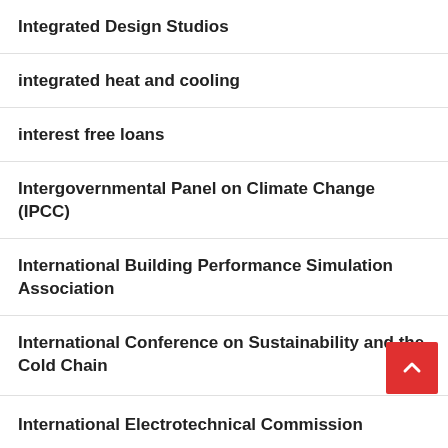Integrated Design Studios
integrated heat and cooling
interest free loans
Intergovernmental Panel on Climate Change (IPCC)
International Building Performance Simulation Association
International Conference on Sustainability and the Cold Chain
International Electrotechnical Commission